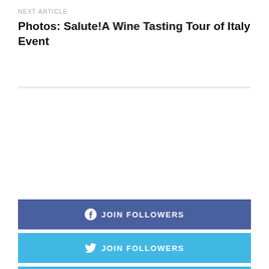NEXT ARTICLE
Photos: Salute!A Wine Tasting Tour of Italy Event
[Figure (other): Empty advertisement placeholder box with blue border]
JOIN FOLLOWERS (Facebook)
JOIN FOLLOWERS (Twitter)